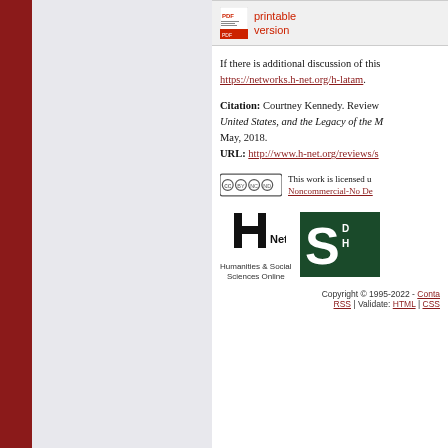[Figure (screenshot): Printable version button with PDF icon and red text 'printable version']
If there is additional discussion of this, https://networks.h-net.org/h-latam.
Citation: Courtney Kennedy. Review of United States, and the Legacy of the M May, 2018. URL: http://www.h-net.org/reviews/s
[Figure (logo): Creative Commons BY-NC-ND license icon followed by text 'This work is licensed u... Noncommercial-No De...']
[Figure (logo): H-Net Humanities & Social Sciences Online logo]
[Figure (logo): Partial green/dark logo with large S letter]
Copyright © 1995-2022 - Conta... RSS | Validate: HTML | CSS